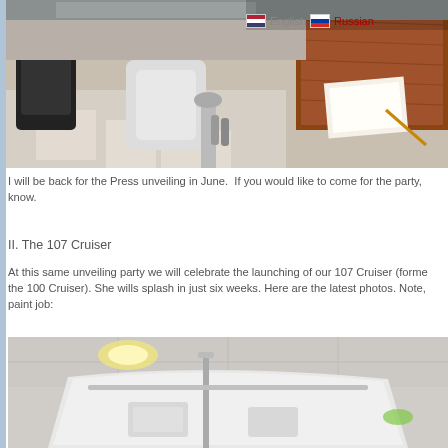[Figure (photo): Interior photo of a yacht/boat cockpit showing helm seating, control panels, and wood-finish dashboard surfaces]
I will be back for the Press unveiling in June.  If you would like to come for the party, know.
II. The 107 Cruiser
At this same unveiling party we will celebrate the launching of our 107 Cruiser (forme the 100 Cruiser). She wills splash in just six weeks. Here are the latest photos. Note, paint job:
[Figure (photo): Interior photo of a boat hull/cabin under construction showing white fiberglass surfaces and structural framing]